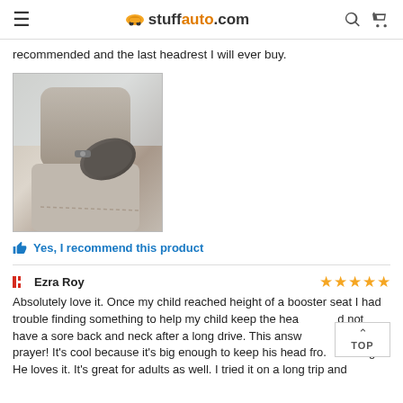stuffauto.com
recommended and the last headrest I will ever buy.
[Figure (photo): Photo of a car headrest/neck support pillow attached to a vehicle seat headrest]
👍 Yes, I recommend this product
🇨🇦 Ezra Roy ★★★★★
Absolutely love it. Once my child reached height of a booster seat I had trouble finding something to help my child keep the head and not have a sore back and neck after a long drive. This answered my prayer! It's cool because it's big enough to keep his head from falling. He loves it. It's great for adults as well. I tried it on a long trip and